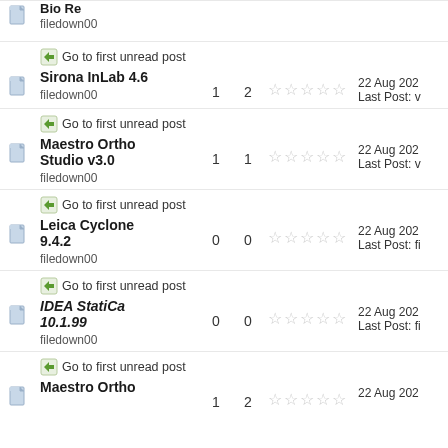Sirona InLab 4.6 - filedown00 - replies: 1, views: 2 - 22 Aug 202, Last Post: v
Maestro Ortho Studio v3.0 - filedown00 - replies: 1, views: 1 - 22 Aug 202, Last Post: v
Leica Cyclone 9.4.2 - filedown00 - replies: 0, views: 0 - 22 Aug 202, Last Post: fi
IDEA StatiCa 10.1.99 - filedown00 - replies: 0, views: 0 - 22 Aug 202, Last Post: fi
Maestro Ortho - replies: 1, views: 2 - 22 Aug 202